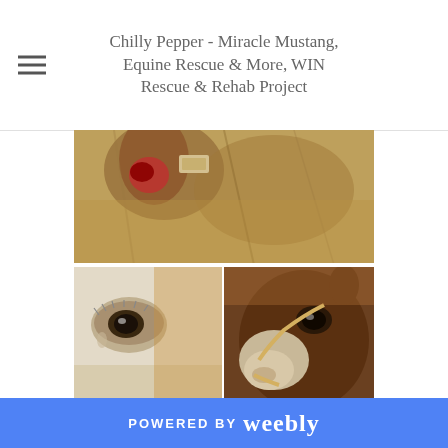Chilly Pepper - Miracle Mustang, Equine Rescue & More, WIN Rescue & Rehab Project
[Figure (photo): Collage of three close-up horse photographs: top image shows a horse's ear/head area with reddish wound, bottom-left shows a close-up of a horse's eye with white fur, bottom-right shows a dark brown horse's face in profile]
[Figure (photo): Blue sky with white clouds, partial view at bottom of page]
POWERED BY weebly